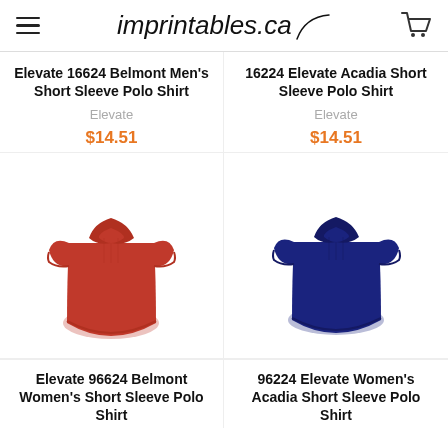imprintables.ca
Elevate 16624 Belmont Men's Short Sleeve Polo Shirt
Elevate
$14.51
16224 Elevate Acadia Short Sleeve Polo Shirt
Elevate
$14.51
[Figure (photo): Red women's short sleeve polo shirt]
[Figure (photo): Navy blue women's short sleeve polo shirt]
Elevate 96624 Belmont Women's Short Sleeve Polo Shirt
96224 Elevate Women's Acadia Short Sleeve Polo Shirt